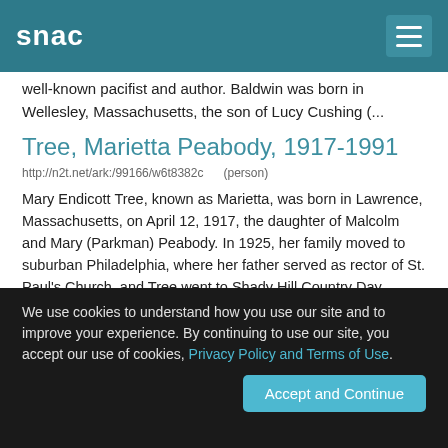snac
well-known pacifist and author. Baldwin was born in Wellesley, Massachusetts, the son of Lucy Cushing (...
Tree, Marietta Peabody, 1917-1991
http://n2t.net/ark:/99166/w6t8382c    (person)
Mary Endicott Tree, known as Marietta, was born in Lawrence, Massachusetts, on April 12, 1917, the daughter of Malcolm and Mary (Parkman) Peabody. In 1925, her family moved to suburban Philadelphia, where her father served as rector of St. Paul's Church, and Tree went to Shady Hill Country Day School, followed by St. Timothy's, a boarding school in Maryland and a year at a finishing school in Italy. She then attended the University of Pennsylvania before marrying Desmond FitzGerald...
We use cookies to understand how you use our site and to improve your experience. By continuing to use our site, you accept our use of cookies, Privacy Policy and Terms of Use.